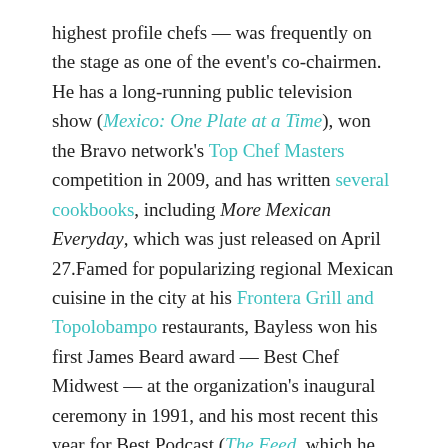highest profile chefs — was frequently on the stage as one of the event's co-chairmen.
He has a long-running public television show (Mexico: One Plate at a Time), won the Bravo network's Top Chef Masters competition in 2009, and has written several cookbooks, including More Mexican Everyday, which was just released on April 27.Famed for popularizing regional Mexican cuisine in the city at his Frontera Grill and Topolobampo restaurants, Bayless won his first James Beard award — Best Chef Midwest — at the organization's inaugural ceremony in 1991, and his most recent this year for Best Podcast (The Feed, which he co-hosts with Chicago food critic Steve Dolinsky). In between, he received James Beard medallions as National Chef of the Year in 1995 and Humanitarian of the Year in 1998 and many Culinary Institute of...